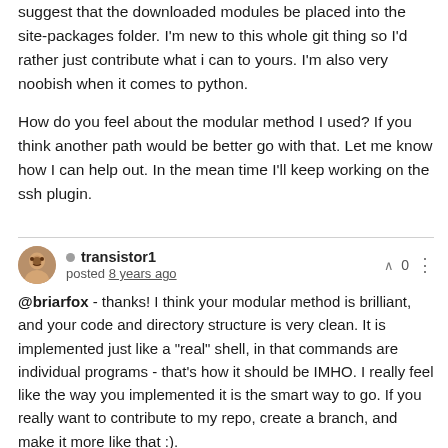suggest that the downloaded modules be placed into the site-packages folder. I'm new to this whole git thing so I'd rather just contribute what i can to yours. I'm also very noobish when it comes to python.

How do you feel about the modular method I used? If you think another path would be better go with that. Let me know how I can help out. In the mean time I'll keep working on the ssh plugin.
transistor1 · posted 8 years ago · ∧ 0
@briarfox - thanks! I think your modular method is brilliant, and your code and directory structure is very clean. It is implemented just like a "real" shell, in that commands are individual programs - that's how it should be IMHO. I really feel like the way you implemented it is the smart way to go. If you really want to contribute to my repo, create a branch, and make it more like that :).

What I envisioned was somehow taking advantage of the already existing functionality in setuptools to download the plugins and modules – not sure if this is possible or not. I was going to fork your repo and play around with that when I had a chance. Python isn't